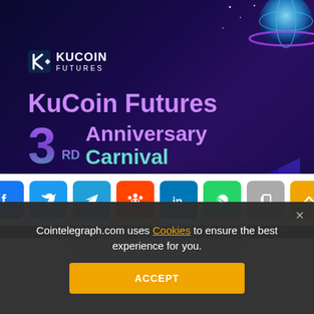[Figure (illustration): KuCoin Futures 3rd Anniversary Carnival promotional banner with dark purple background, 3D city blocks, globe illustration, and planet. Features the KuCoin Futures logo, event title text, and $10,000,000 prize amount.]
KuCoin Futures
3RD Anniversary Carnival
$10,000,000
[Figure (infographic): Social share bar with icons for Facebook, Twitter, Telegram, Reddit, LinkedIn, WhatsApp, Copy, and scroll-to-top]
Join Now
Cointelegraph.com uses Cookies to ensure the best experience for you.
ACCEPT